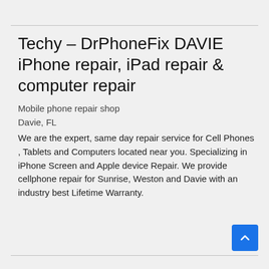Techy – DrPhoneFix DAVIE iPhone repair, iPad repair & computer repair
Mobile phone repair shop
Davie, FL
We are the expert, same day repair service for Cell Phones , Tablets and Computers located near you. Specializing in iPhone Screen and Apple device Repair. We provide cellphone repair for Sunrise, Weston and Davie with an industry best Lifetime Warranty.